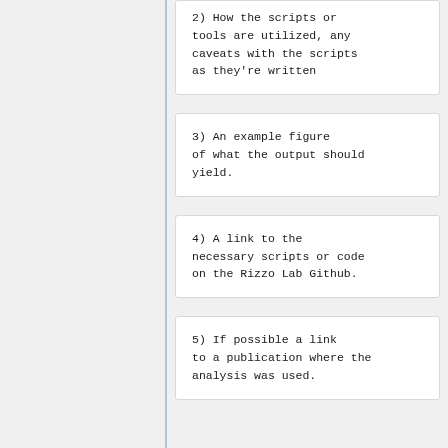2) How the scripts or tools are utilized, any caveats with the scripts as they're written
3) An example figure of what the output should yield.
4) A link to the necessary scripts or code on the Rizzo Lab Github.
5) If possible a link to a publication where the analysis was used.